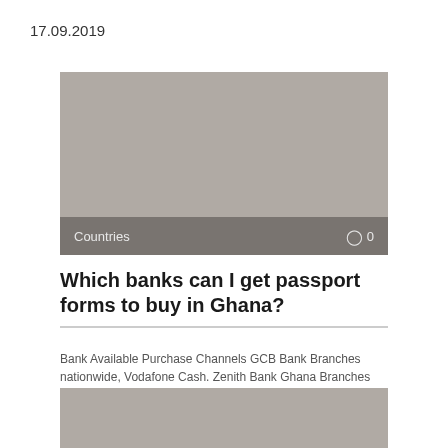17.09.2019
[Figure (photo): Grey placeholder image with 'Countries' label and comment count '0' at the bottom]
Which banks can I get passport forms to buy in Ghana?
Bank Available Purchase Channels GCB Bank Branches nationwide, Vodafone Cash. Zenith Bank Ghana Branches
[Figure (photo): Grey placeholder image (partial, bottom of page)]